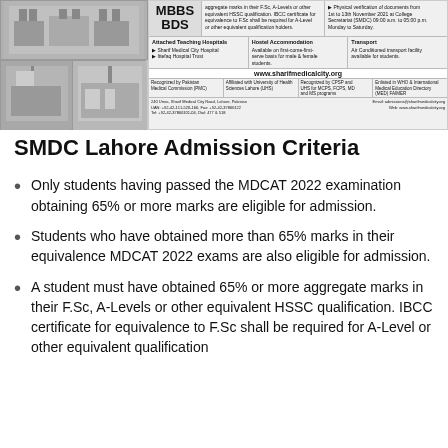[Figure (infographic): SMDC/Sharif Medical and Dental College advertisement banner showing college buildings photos on the left, and information about MBBS/BDS programs, admission criteria, attached teaching hospitals, hostel accommodation, transport, website www.sharifmedicalcity.org, recognitions, and contact details on the right.]
SMDC Lahore Admission Criteria
Only students having passed the MDCAT 2022 examination obtaining 65% or more marks are eligible for admission.
Students who have obtained more than 65% marks in their equivalence MDCAT 2022 exams are also eligible for admission.
A student must have obtained 65% or more aggregate marks in their F.Sc, A-Levels or other equivalent HSSC qualification. IBCC certificate for equivalence to F.Sc shall be required for A-Level or other equivalent qualification